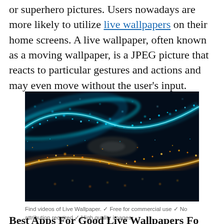or superhero pictures. Users nowadays are more likely to utilize live wallpapers on their home screens. A live wallpaper, often known as a moving wallpaper, is a JPEG picture that reacts to particular gestures and actions and may even move without the user's input.
[Figure (photo): Abstract digital art showing flowing waves of blue and orange glowing particles against a dark background, resembling a live wallpaper.]
Find videos of Live Wallpaper. ✓ Free for commercial use ✓ No attribution required ✓ High quality images.
Best Apps For Good Live Wallpapers Fo...